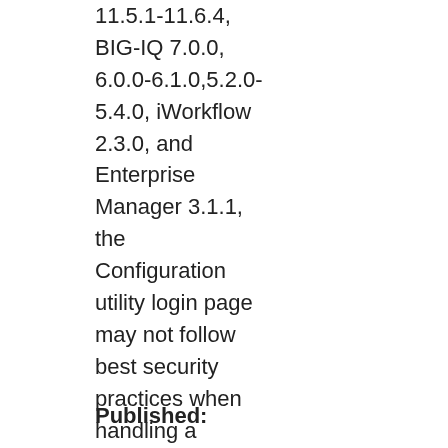11.5.1-11.6.4, BIG-IQ 7.0.0, 6.0.0-6.1.0,5.2.0-5.4.0, iWorkflow 2.3.0, and Enterprise Manager 3.1.1, the Configuration utility login page may not follow best security practices when handling a malicious request.
Published: